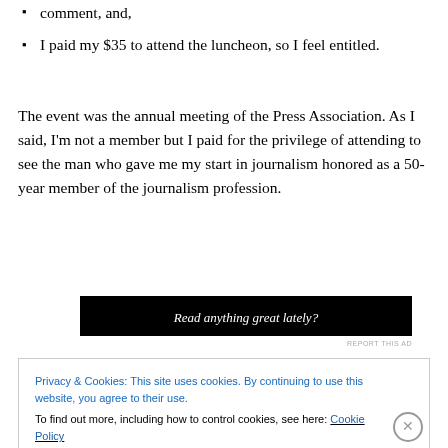comment, and,
I paid my $35 to attend the luncheon, so I feel entitled.
The event was the annual meeting of the Press Association. As I said, I'm not a member but I paid for the privilege of attending to see the man who gave me my start in journalism honored as a 50-year member of the journalism profession.
[Figure (other): Advertisement banner: 'Read anything great lately?' on black background]
REPORT THIS AD
Privacy & Cookies: This site uses cookies. By continuing to use this website, you agree to their use.
To find out more, including how to control cookies, see here: Cookie Policy
Close and accept